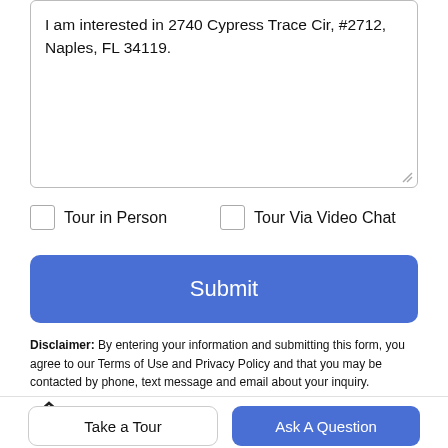I am interested in 2740 Cypress Trace Cir, #2712, Naples, FL 34119.
Tour in Person
Tour Via Video Chat
Submit
Disclaimer: By entering your information and submitting this form, you agree to our Terms of Use and Privacy Policy and that you may be contacted by phone, text message and email about your inquiry.
[Figure (illustration): Home/house icon]
Take a Tour
Ask A Question